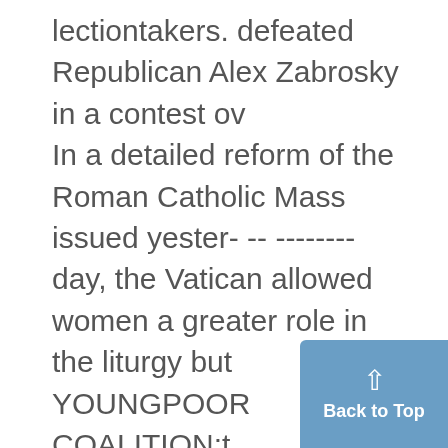lectiontakers. defeated Republican Alex Zabrosky in a contest ov In a detailed reform of the Roman Catholic Mass issued yester- -- -------- day, the Vatican allowed women a greater role in the liturgy but YOUNGPOOR COALITION:t sharply limited any experimentation with the rites. However, 'women remain barred from serving as acolytes and leading the congregation in reading from the Gospel. The Vatican instruction, signed by Benno